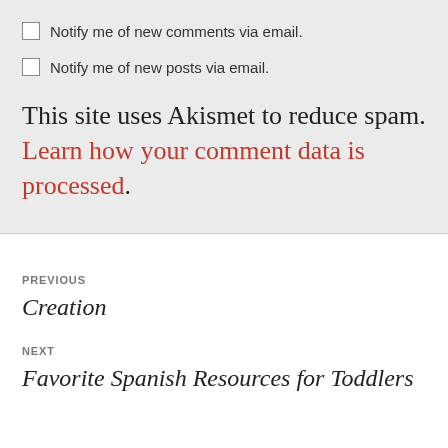Notify me of new comments via email.
Notify me of new posts via email.
This site uses Akismet to reduce spam. Learn how your comment data is processed.
PREVIOUS
Creation
NEXT
Favorite Spanish Resources for Toddlers